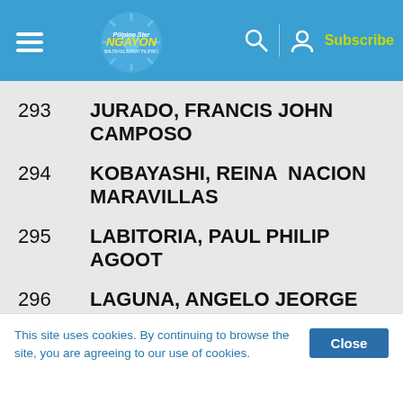Ngayon — Subscribe
293   JURADO, FRANCIS JOHN  CAMPOSO
294   KOBAYASHI, REINA  NACION MARAVILLAS
295   LABITORIA, PAUL PHILIP  AGOOT
296   LAGUNA, ANGELO JEORGE  TOLOY
297   LAGUNDI, JINO LEON  ASCURA
This site uses cookies. By continuing to browse the site, you are agreeing to our use of cookies.